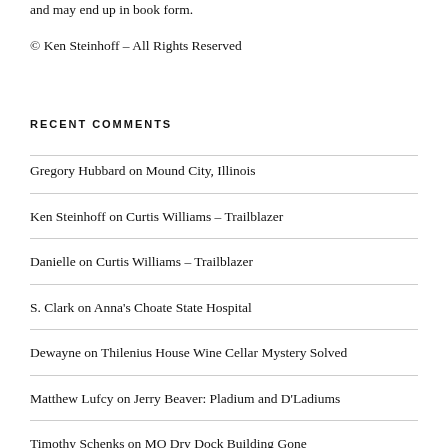and may end up in book form.
© Ken Steinhoff – All Rights Reserved
RECENT COMMENTS
Gregory Hubbard on Mound City, Illinois
Ken Steinhoff on Curtis Williams – Trailblazer
Danielle on Curtis Williams – Trailblazer
S. Clark on Anna's Choate State Hospital
Dewayne on Thilenius House Wine Cellar Mystery Solved
Matthew Lufcy on Jerry Beaver: Pladium and D'Ladiums
Timothy Schenks on MO Dry Dock Building Gone